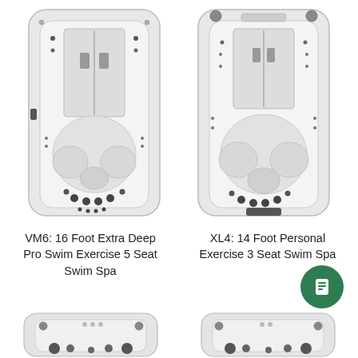[Figure (photo): Top-down view of VM6 swim spa, white/grey color, rectangular with rounded corners, showing seat indentations and jets]
[Figure (photo): Top-down view of XL4 swim spa, white/grey color, rectangular with rounded corners, showing seat indentations and jets]
VM6: 16 Foot Extra Deep Pro Swim Exercise 5 Seat Swim Spa
XL4: 14 Foot Personal Exercise 3 Seat Swim Spa
[Figure (photo): Partial top-down view of another swim spa model, bottom left, cropped]
[Figure (photo): Partial top-down view of another swim spa model, bottom right, cropped]